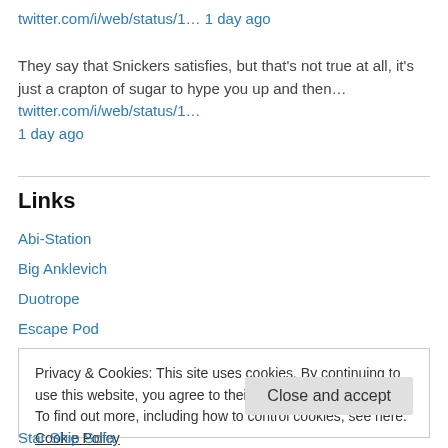twitter.com/i/web/status/1… 1 day ago
They say that Snickers satisfies, but that's not true at all, it's just a crapton of sugar to hype you up and then… twitter.com/i/web/status/1… 1 day ago
Links
Abi-Station
Big Anklevich
Duotrope
Escape Pod
Privacy & Cookies: This site uses cookies. By continuing to use this website, you agree to their use. To find out more, including how to control cookies, see here: Cookie Policy
Star Ship Sofa